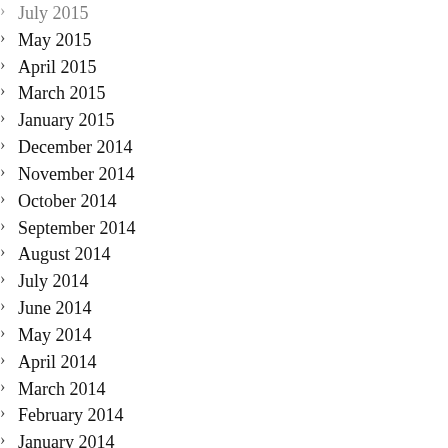July 2015
May 2015
April 2015
March 2015
January 2015
December 2014
November 2014
October 2014
September 2014
August 2014
July 2014
June 2014
May 2014
April 2014
March 2014
February 2014
January 2014
December 2013
November 2013
October 2013
September 2013
August 2013